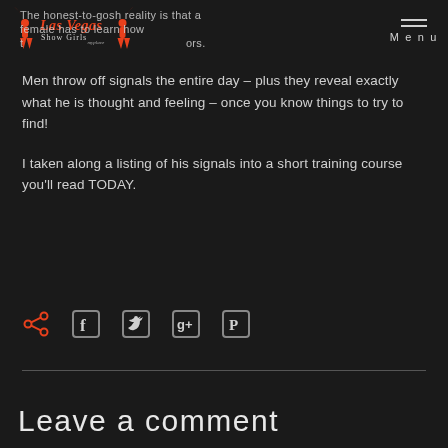Las Vegas Show Girls — Menu
The honest-to-gosh reality is that a female has to learn how to read the signals men give off at all hours.
Men throw off signals the entire day – plus they reveal exactly what he is thought and feeling – once you know things to try to find!
I taken along a listing of his signals into a short training course you'll read TODAY.
[Figure (infographic): Social share icons: share, Facebook, Twitter, Google+, Pinterest]
Leave a comment